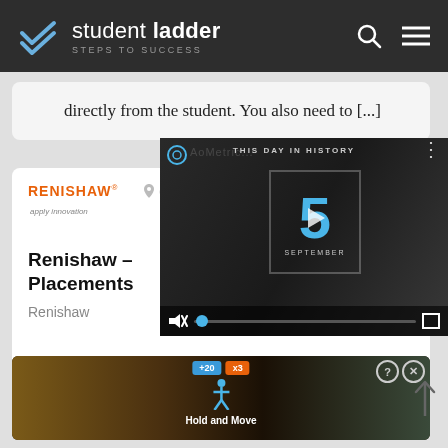[Figure (screenshot): Student Ladder website header with logo, search icon, and hamburger menu on dark background]
directly from the student. You also need to [...]
[Figure (screenshot): Renishaw job listing card with location in Gloucestershire, company logo, and title 'Renishaw – Placements', with overlaid 'This Day in History' video showing number 5 and September, with video controls]
Renishaw – Placements
Renishaw
[Figure (screenshot): Mobile game UI showing Hold and Move interface with +20 and x3 badges, help and close buttons, and stylized human figure icon on dark background with trees]